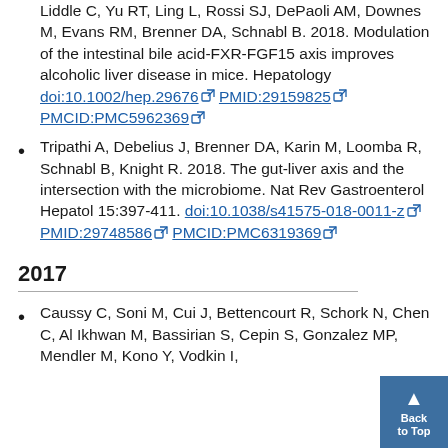Liddle C, Yu RT, Ling L, Rossi SJ, DePaoli AM, Downes M, Evans RM, Brenner DA, Schnabl B. 2018. Modulation of the intestinal bile acid-FXR-FGF15 axis improves alcoholic liver disease in mice. Hepatology doi:10.1002/hep.29676 PMID:29159825 PMCID:PMC5962369
Tripathi A, Debelius J, Brenner DA, Karin M, Loomba R, Schnabl B, Knight R. 2018. The gut-liver axis and the intersection with the microbiome. Nat Rev Gastroenterol Hepatol 15:397-411. doi:10.1038/s41575-018-0011-z PMID:29748586 PMCID:PMC6319369
2017
Caussy C, Soni M, Cui J, Bettencourt R, Schork N, Chen C, Al Ikhwan M, Bassirian S, Cepin S, Gonzalez MP, Mendler M, Kono Y, Vodkin I,